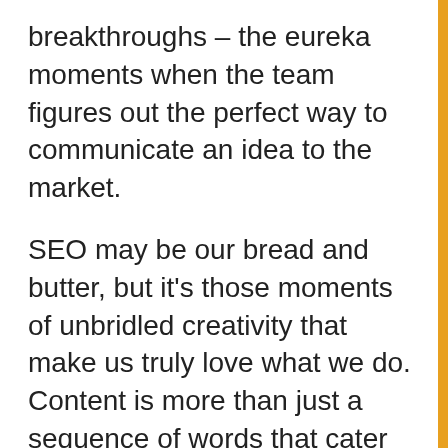breakthroughs – the eureka moments when the team figures out the perfect way to communicate an idea to the market.
SEO may be our bread and butter, but it's those moments of unbridled creativity that make us truly love what we do. Content is more than just a sequence of words that cater to an algorithm. Business and communication go hand in hand, and when you're dealing with decentralized systems, content is your best communication channel. The highest volume keywords drive